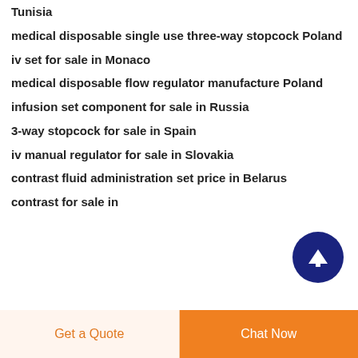Tunisia
medical disposable single use three-way stopcock Poland
iv set for sale in Monaco
medical disposable flow regulator manufacture Poland
infusion set component for sale in Russia
3-way stopcock for sale in Spain
iv manual regulator for sale in Slovakia
contrast fluid administration set price in Belarus
contrast for sale in